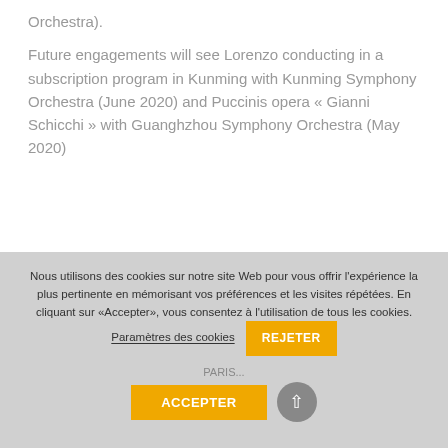Orchestra).
Future engagements will see Lorenzo conducting in a subscription program in Kunming with Kunming Symphony Orchestra (June 2020) and Puccinis opera « Gianni Schicchi » with Guanghzhou Symphony Orchestra (May 2020)
Nous utilisons des cookies sur notre site Web pour vous offrir l'expérience la plus pertinente en mémorisant vos préférences et les visites répétées. En cliquant sur «Accepter», vous consentez à l'utilisation de tous les cookies. Paramètres des cookies